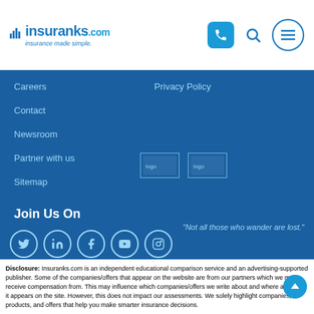[Figure (logo): Insuranks.com logo with tagline 'insurance made simple.']
Careers | Privacy Policy | Contact | Newsroom | Partner with us | Sitemap
Careers
Privacy Policy
Contact
Newsroom
Partner with us
Sitemap
Join Us On
[Figure (logo): Social media icons: Twitter, LinkedIn, Facebook, YouTube, Instagram]
[Figure (logo): Two partner/app logos]
“Not all those who wander are lost.”
Disclosure: Insuranks.com is an independent educational comparison service and an advertising-supported publisher. Some of the companies/offers that appear on the website are from our partners which we may receive compensation from. This may influence which companies/offers we write about and where and how it appears on the site. However, this does not impact our assessments. We solely highlight companies, products, and offers that help you make smarter insurance decisions.